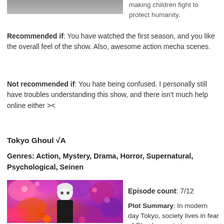[Figure (photo): Anime screenshot at top (partially visible, cropped)]
making children fight to protect humanity.
Recommended if: You have watched the first season, and you like the overall feel of the show. Also, awesome action mecha scenes.
Not recommended if: You hate being confused. I personally still have troubles understanding this show, and there isn't much help online either ><
Tokyo Ghoul √A
Genres: Action, Mystery, Drama, Horror, Supernatural, Psychological, Seinen
[Figure (photo): Tokyo Ghoul √A anime character with white hair surrounded by colorful flowers]
Episode count: 7/12
Plot Summary: In modern day Tokyo, society lives in fear of Ghouls: mysterious